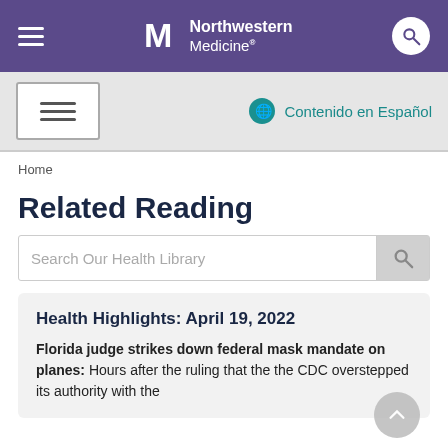Northwestern Medicine
Contenido en Español
Home
Related Reading
Search Our Health Library
Health Highlights: April 19, 2022
Florida judge strikes down federal mask mandate on planes: Hours after the ruling that the the CDC overstepped its authority with the